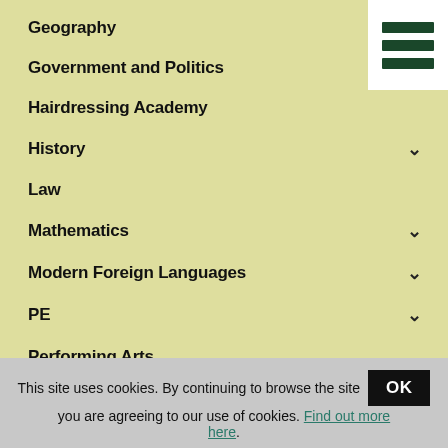Geography
Government and Politics
Hairdressing Academy
History
Law
Mathematics
Modern Foreign Languages
PE
Performing Arts
PSHE
Psychology
Religious Education
This site uses cookies. By continuing to browse the site you are agreeing to our use of cookies. Find out more here.